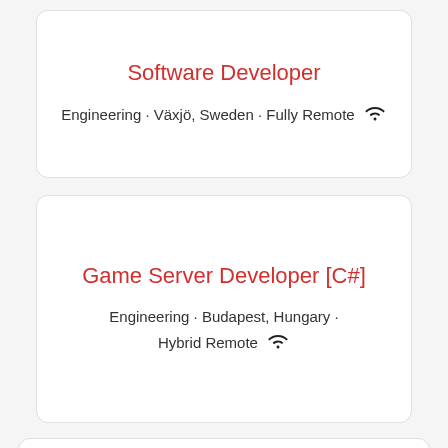Software Developer
Engineering · Växjö, Sweden · Fully Remote
Game Server Developer [C#]
Engineering · Budapest, Hungary · Hybrid Remote